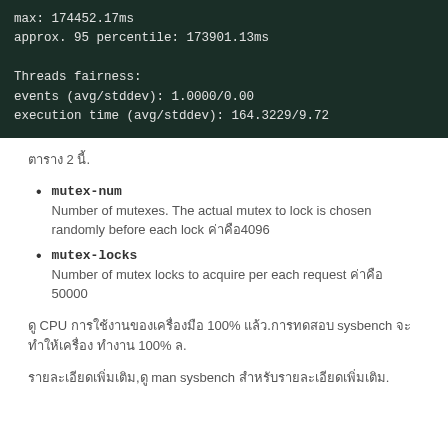[Figure (screenshot): Terminal code block showing benchmark output: max: 174452.17ms, approx. 95 percentile: 173901.13ms, Threads fairness: events (avg/stddev): 1.0000/0.00, execution time (avg/stddev): 164.3229/9.72]
ตาราง 2 นี้.
mutex-num
Number of mutexes. The actual mutex to lock is chosen randomly before each lock ค่าคือ4096
mutex-locks
Number of mutex locks to acquire per each request ค่าคือ 50000
ดู CPU การใช้งานของเครื่องมือ 100% แล้ว.การทดสอบ sysbench จะทำให้เครื่อง ทำงาน 100% ล.
รายละเอียดเพิ่มเติม,ดู man sysbench สำหรับรายละเอียดเพิ่มเติม.